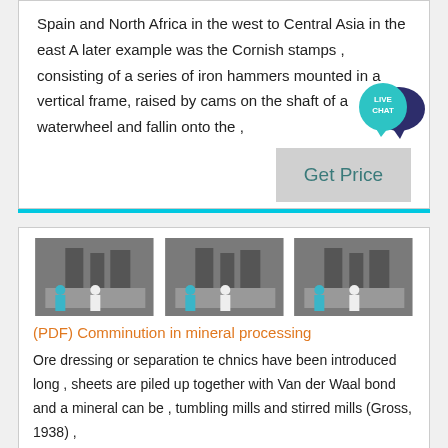Spain and North Africa in the west to Central Asia in the east A later example was the Cornish stamps , consisting of a series of iron hammers mounted in a vertical frame, raised by cams on the shaft of a waterwheel and falling onto the ,
[Figure (infographic): Live Chat speech bubble icon with teal background and white text reading LIVE CHAT]
Get Price
[Figure (photo): Three similar photographs of industrial milling/grinding machinery with workers visible]
(PDF) Comminution in mineral processing
Ore dressing or separation te chnics have been introduced long , sheets are piled up together with Van der Waal bond and a mineral can be , tumbling mills and stirred mills (Gross, 1938) ,